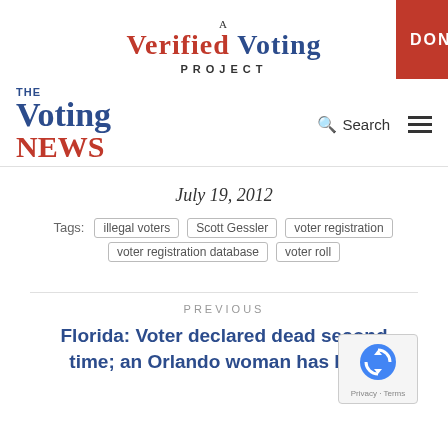[Figure (logo): A Verified Voting Project logo with DONATE button]
[Figure (logo): The Voting News logo with Search and hamburger menu]
July 19, 2012
Tags: illegal voters  Scott Gessler  voter registration  voter registration database  voter roll
PREVIOUS
Florida: Voter declared dead second time; an Orlando woman has been